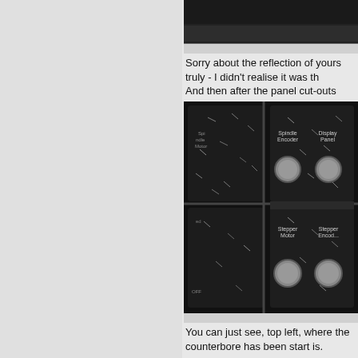[Figure (photo): Top portion of a dark control panel or equipment surface, partially cropped, dark background with some metallic elements visible]
Sorry about the reflection of yours truly - I didn't realise it was th
And then after the panel cut-outs were machined.
[Figure (photo): Close-up photo of a black control panel with machined cut-outs, showing knobs/dials and labels including 'Spindle Encoder', 'Display Panel', 'Stepper Motor', 'Stepper Encoder'. Metal swarf/chips are scattered across the panel surface.]
You can just see, top left, where the counterbore has been start is.